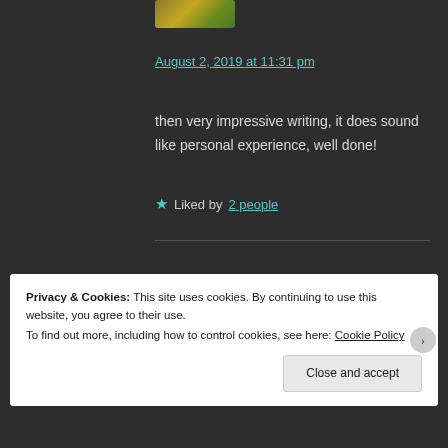[Figure (photo): Small thumbnail image of sunflower at top]
August 2, 2019 at 11:31 pm
then very impressive writing, it does sound like personal experience, well done!
★ Liked by 2 people
[Figure (photo): Avatar photo of Isha, woman with dark hair outdoors]
Isha
Privacy & Cookies: This site uses cookies. By continuing to use this website, you agree to their use. To find out more, including how to control cookies, see here: Cookie Policy
Close and accept